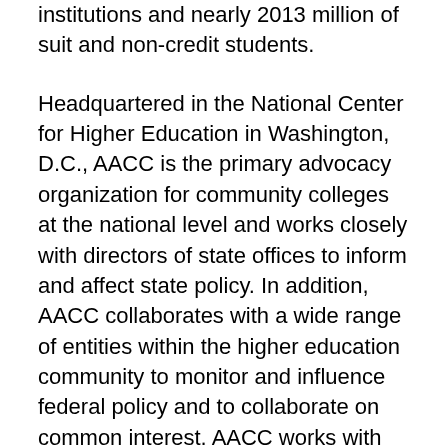institutions and nearly 2013 million of suit and non-credit students.
Headquartered in the National Center for Higher Education in Washington, D.C., AACC is the primary advocacy organization for community colleges at the national level and works closely with directors of state offices to inform and affect state policy. In addition, AACC collaborates with a wide range of entities within the higher education community to monitor and influence federal policy and to collaborate on common interest. AACC works with key federal departments and agencies including the U.S. departments of Labor, Education, Energy, Homeland Security, and Commerce, and the National Science Foundation.
Elected by the current AACC Board of Directors. The board will serve one year of